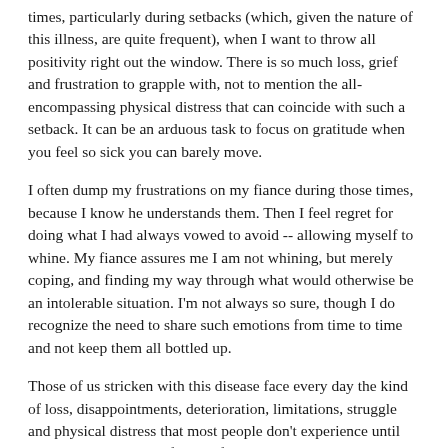times, particularly during setbacks (which, given the nature of this illness, are quite frequent), when I want to throw all positivity right out the window. There is so much loss, grief and frustration to grapple with, not to mention the all-encompassing physical distress that can coincide with such a setback. It can be an arduous task to focus on gratitude when you feel so sick you can barely move.
I often dump my frustrations on my fiance during those times, because I know he understands them. Then I feel regret for doing what I had always vowed to avoid -- allowing myself to whine. My fiance assures me I am not whining, but merely coping, and finding my way through what would otherwise be an intolerable situation. I'm not always so sure, though I do recognize the need to share such emotions from time to time and not keep them all bottled up.
Those of us stricken with this disease face every day the kind of loss, disappointments, deterioration, limitations, struggle and physical distress that most people don't experience until they are near the end of their life. Consequently, it is beyond reasonable, even perhaps essential to coping, to often feel complete and utter exasperation, as well as to at times experience deep sadness over what is lost and what we are missing out on, or on all that could